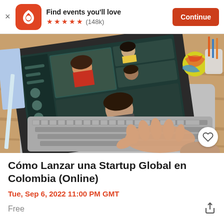Find events you'll love ★★★★★ (148k) Continue
[Figure (photo): Overhead view of a person typing on a laptop showing a video conference call with four participants visible on screen, on a wooden desk with office supplies]
Cómo Lanzar una Startup Global en Colombia (Online)
Tue, Sep 6, 2022 11:00 PM GMT
Free